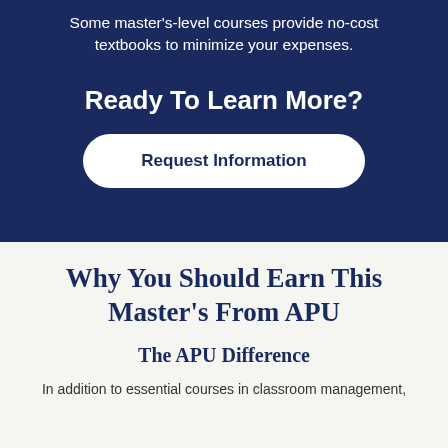Some master's-level courses provide no-cost textbooks to minimize your expenses.
Ready To Learn More?
Request Information
Why You Should Earn This Master's From APU
The APU Difference
In addition to essential courses in classroom management,